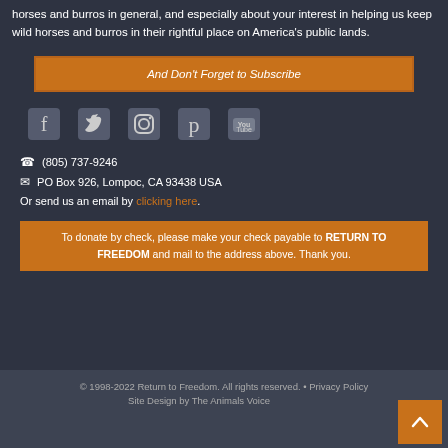horses and burros in general, and especially about your interest in helping us keep wild horses and burros in their rightful place on America's public lands.
And Don't Forget to Subscribe
[Figure (infographic): Social media icons: Facebook, Twitter, Instagram, Pinterest, YouTube]
(805) 737-9246
PO Box 926, Lompoc, CA 93438 USA
Or send us an email by clicking here.
To donate by check, please make your check payable to RETURN TO FREEDOM and mail to the address above. Thank you.
© 1998-2022 Return to Freedom. All rights reserved. • Privacy Policy
Site Design by The Animals Voice